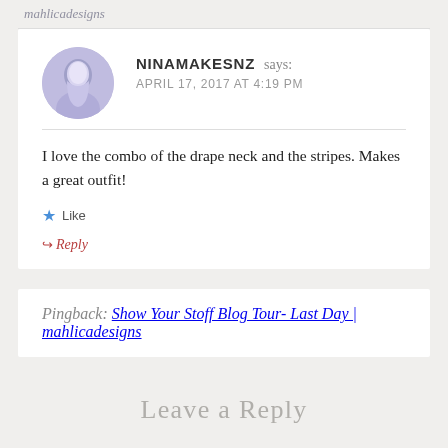mahlicadesigns
NINAMAKESNZ says:
APRIL 17, 2017 AT 4:19 PM
I love the combo of the drape neck and the stripes. Makes a great outfit!
Like
Reply
Pingback: Show Your Stoff Blog Tour- Last Day | mahlicadesigns
Leave a Reply
Your email address will not be published. Required fields